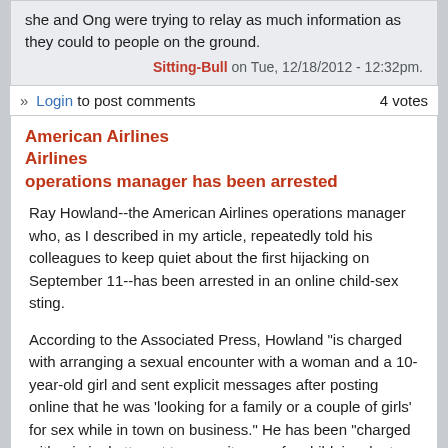she and Ong were trying to relay as much information as they could to people on the ground.
Sitting-Bull on Tue, 12/18/2012 - 12:32pm.
» Login to post comments   4 votes
American Airlines operations manager has been arrested
Ray Howland--the American Airlines operations manager who, as I described in my article, repeatedly told his colleagues to keep quiet about the first hijacking on September 11--has been arrested in an online child-sex sting.
According to the Associated Press, Howland "is charged with arranging a sexual encounter with a woman and a 10-year-old girl and sent explicit messages after posting online that he was 'looking for a family or a couple of girls' for sex while in town on business." He has been "charged with criminal attempt to commit rape of a child, involuntary deviate sexual intercourse and other offenses."
See: http://abcnews.go.com/US/wireStory/airline-ops-manager-working-911-charged-sex-sting-32108258